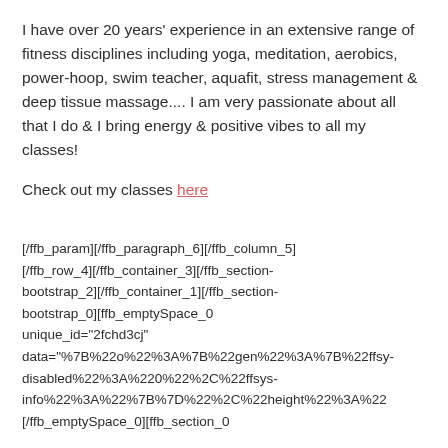I have over 20 years' experience in an extensive range of fitness disciplines including yoga, meditation, aerobics, power-hoop, swim teacher, aquafit, stress management & deep tissue massage.... I am very passionate about all that I do & I bring energy & positive vibes to all my classes!
Check out my classes here
[/ffb_param][/ffb_paragraph_6][/ffb_column_5][/ffb_row_4][/ffb_container_3][/ffb_section-bootstrap_2][/ffb_container_1][/ffb_section-bootstrap_0][ffb_emptySpace_0 unique_id="2fchd3cj" data="%7B%22o%22%3A%7B%22gen%22%3A%7B%22ffsy-disabled%22%3A%220%22%2C%22ffsys-info%22%3A%22%7B%7D%22%2C%22height%22%3A%22 [/ffb_emptySpace_0][ffb_section_0